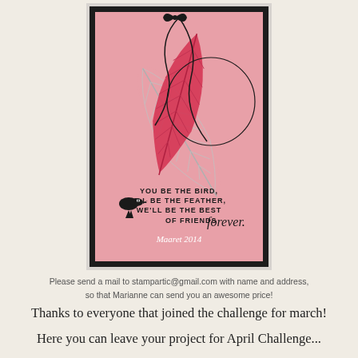[Figure (photo): Handmade greeting card on pink background with feather stamps in red/white, a small black bird silhouette, black ribbon bow, and text reading 'YOU BE THE BIRD, I'LL BE THE FEATHER, WE'LL BE THE BEST OF FRIENDS forever. Maaret 2014'. Card is mounted on black mat with white border.]
Please send a mail to stampartic@gmail.com with name and address, so that Marianne can send you an awesome price!
Thanks to everyone that joined the challenge for march!
Here you can leave your project for April Challenge...